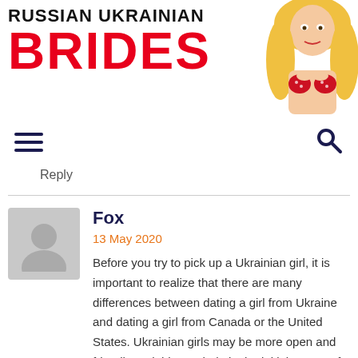RUSSIAN UKRAINIAN BRIDES
[Figure (photo): Blonde woman in red bikini top, positioned top-right of the header logo]
Reply
Fox
13 May 2020
Before you try to pick up a Ukrainian girl, it is important to realize that there are many differences between dating a girl from Ukraine and dating a girl from Canada or the United States. Ukrainian girls may be more open and friendly and this can help in the initial stages of a relationship. However, there are some differences